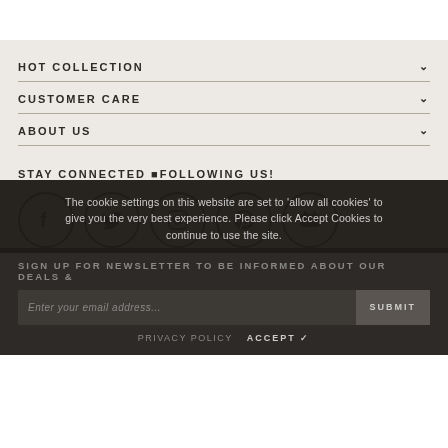HOT COLLECTION
CUSTOMER CARE
ABOUT US
STAY CONNECTED FOLLOWING US!
[Figure (infographic): Social media icons: Facebook, Twitter, Instagram, Pinterest, YouTube]
SIGN UP FOR NEWSLETTER TO BE INFORMED ABOUT OUR DEALS &
The cookie settings on this website are set to 'allow all cookies' to give you the very best experience. Please click Accept Cookies to continue to use the site.
PRIVACY POLICY    ACCEPT ✔